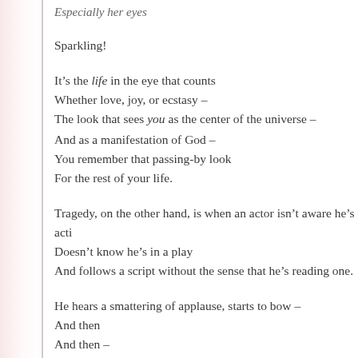Especially her eyes
Sparkling!
It’s the life in the eye that counts
Whether love, joy, or ecstasy –
The look that sees you as the center of the universe –
And as a manifestation of God –
You remember that passing-by look
For the rest of your life.
Tragedy, on the other hand, is when an actor isn’t aware he’s acti
Doesn’t know he’s in a play
And follows a script without the sense that he’s reading one.
He hears a smattering of applause, starts to bow –
And then
And then –